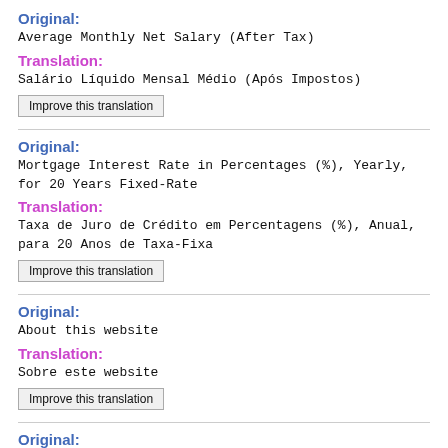Original:
Average Monthly Net Salary (After Tax)
Translation:
Salário Líquido Mensal Médio (Após Impostos)
Improve this translation
Original:
Mortgage Interest Rate in Percentages (%), Yearly, for 20 Years Fixed-Rate
Translation:
Taxa de Juro de Crédito em Percentagens (%), Anual, para 20 Anos de Taxa-Fixa
Improve this translation
Original:
About this website
Translation:
Sobre este website
Improve this translation
Original:
In the News